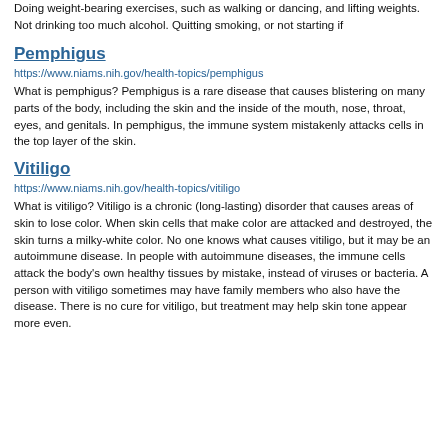Doing weight-bearing exercises, such as walking or dancing, and lifting weights. Not drinking too much alcohol. Quitting smoking, or not starting if
Pemphigus
https://www.niams.nih.gov/health-topics/pemphigus
What is pemphigus? Pemphigus is a rare disease that causes blistering on many parts of the body, including the skin and the inside of the mouth, nose, throat, eyes, and genitals. In pemphigus, the immune system mistakenly attacks cells in the top layer of the skin.
Vitiligo
https://www.niams.nih.gov/health-topics/vitiligo
What is vitiligo? Vitiligo is a chronic (long-lasting) disorder that causes areas of skin to lose color. When skin cells that make color are attacked and destroyed, the skin turns a milky-white color. No one knows what causes vitiligo, but it may be an autoimmune disease. In people with autoimmune diseases, the immune cells attack the body's own healthy tissues by mistake, instead of viruses or bacteria. A person with vitiligo sometimes may have family members who also have the disease. There is no cure for vitiligo, but treatment may help skin tone appear more even.